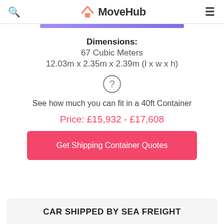MoveHub
Dimensions:
67 Cubic Meters
12.03m x 2.35m x 2.39m (l x w x h)
[Figure (infographic): Question mark circle icon]
See how much you can fit in a 40ft Container
Price: £15,932 - £17,608
Get Shipping Container Quotes
CAR SHIPPED BY SEA FREIGHT